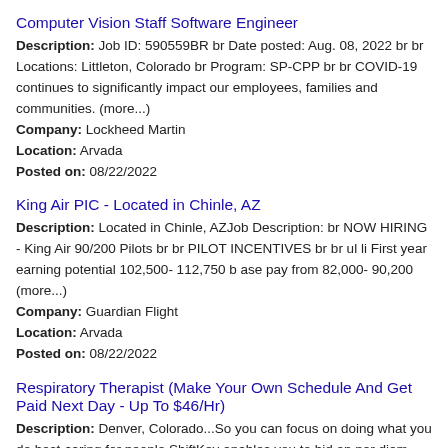Computer Vision Staff Software Engineer
Description: Job ID: 590559BR br Date posted: Aug. 08, 2022 br br Locations: Littleton, Colorado br Program: SP-CPP br br COVID-19 continues to significantly impact our employees, families and communities. (more...)
Company: Lockheed Martin
Location: Arvada
Posted on: 08/22/2022
King Air PIC - Located in Chinle, AZ
Description: Located in Chinle, AZJob Description: br NOW HIRING - King Air 90/200 Pilots br br PILOT INCENTIVES br br ul li First year earning potential 102,500- 112,750 b ase pay from 82,000- 90,200 (more...)
Company: Guardian Flight
Location: Arvada
Posted on: 08/22/2022
Respiratory Therapist (Make Your Own Schedule And Get Paid Next Day - Up To $46/Hr)
Description: Denver, Colorado...So you can focus on doing what you do best-caring for people.ShiftKey enables you to bid on per diem